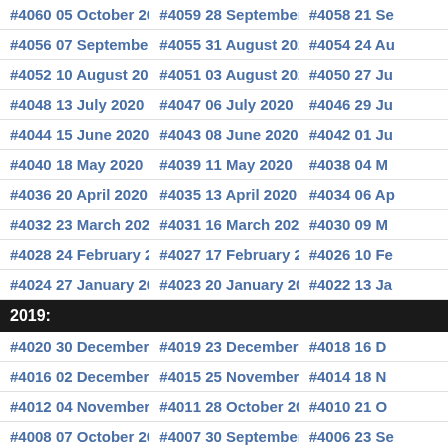#4060 05 October 2020 | #4059 28 September 2020 | #4058 21 Se...
#4056 07 September 2020 | #4055 31 August 2020 | #4054 24 Au...
#4052 10 August 2020 | #4051 03 August 2020 | #4050 27 Ju...
#4048 13 July 2020 | #4047 06 July 2020 | #4046 29 Ju...
#4044 15 June 2020 | #4043 08 June 2020 | #4042 01 Ju...
#4040 18 May 2020 | #4039 11 May 2020 | #4038 04 M...
#4036 20 April 2020 | #4035 13 April 2020 | #4034 06 Ap...
#4032 23 March 2020 | #4031 16 March 2020 | #4030 09 M...
#4028 24 February 2020 | #4027 17 February 2020 | #4026 10 Fe...
#4024 27 January 2020 | #4023 20 January 2020 | #4022 13 Ja...
2019:
#4020 30 December 2019 | #4019 23 December 2019 | #4018 16 D...
#4016 02 December 2019 | #4015 25 November 2019 | #4014 18 N...
#4012 04 November 2019 | #4011 28 October 2019 | #4010 21 O...
#4008 07 October 2019 | #4007 30 September 2019 | #4006 23 Se...
#4004 09 September 2019 | #4003 02 September 2019 | #4002 26 Au...